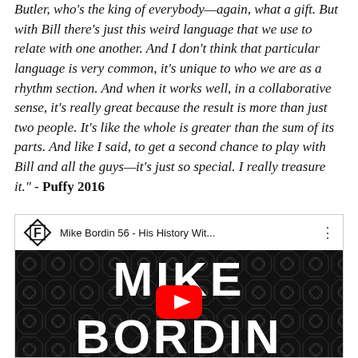Butler, who's the king of everybody—again, what a gift. But with Bill there's just this weird language that we use to relate with one another. And I don't think that particular language is very common, it's unique to who we are as a rhythm section. And when it works well, in a collaborative sense, it's really great because the result is more than just two people. It's like the whole is greater than the sum of its parts. And like I said, to get a second chance to play with Bill and all the guys—it's just so special. I really treasure it." - Puffy 2016
[Figure (screenshot): YouTube video embed showing 'Mike Bordin 56 - His History Wit...' with channel logo F in diamond shape, three-dot menu, black thumbnail with geometric pattern, large white text MIKE BORDIN, and red YouTube play button in center]